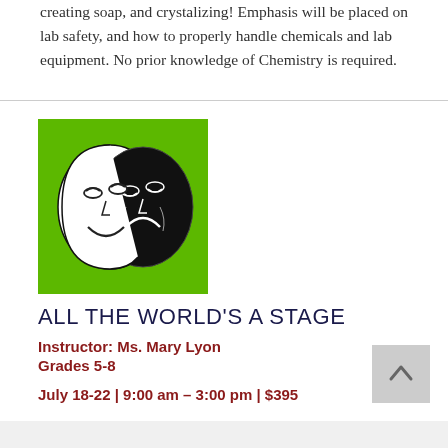creating soap, and crystalizing! Emphasis will be placed on lab safety, and how to properly handle chemicals and lab equipment. No prior knowledge of Chemistry is required.
[Figure (illustration): Green square background with black and white comedy/tragedy theater masks illustration]
ALL THE WORLD'S A STAGE
Instructor: Ms. Mary Lyon
Grades 5-8
July 18-22 | 9:00 am – 3:00 pm | $395